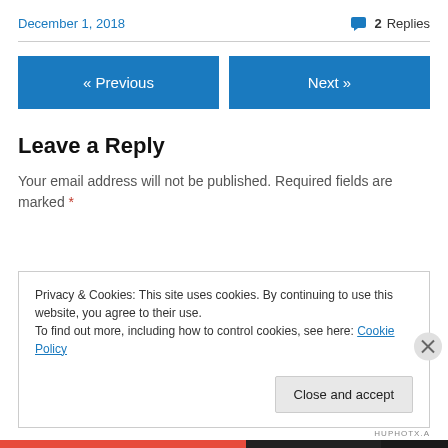December 1, 2018
💬 2 Replies
« Previous
Next »
Leave a Reply
Your email address will not be published. Required fields are marked *
Privacy & Cookies: This site uses cookies. By continuing to use this website, you agree to their use. To find out more, including how to control cookies, see here: Cookie Policy
Close and accept